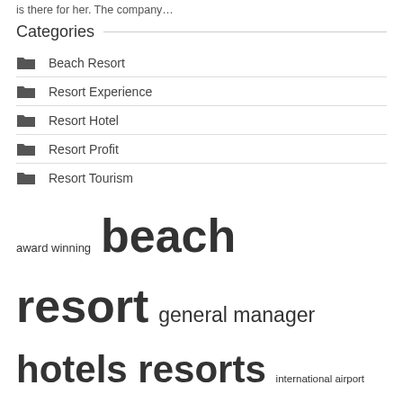is there for her. The company…
Categories
Beach Resort
Resort Experience
Resort Hotel
Resort Profit
Resort Tourism
award winning  beach resort  general manager  hotels resorts  international airport  payday loans  real estate  resort offers  resort spa  square feet  swimming pool  tourism industry  united states  vice president  world class
Recent Posts